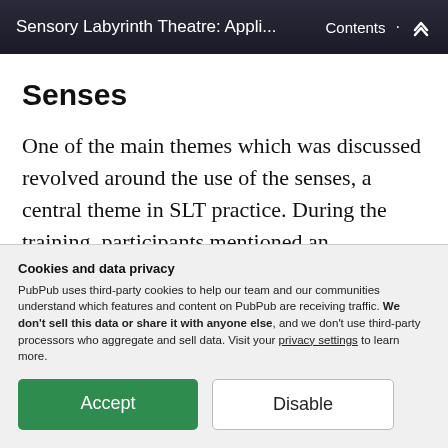Sensory Labyrinth Theatre: Appli... · Contents ↑
Senses
One of the main themes which was discussed revolved around the use of the senses, a central theme in SLT practice. During the training, participants mentioned an awareness, awakening or
Cookies and data privacy
PubPub uses third-party cookies to help our team and our communities understand which features and content on PubPub are receiving traffic. We don't sell this data or share it with anyone else, and we don't use third-party processors who aggregate and sell data. Visit your privacy settings to learn more.